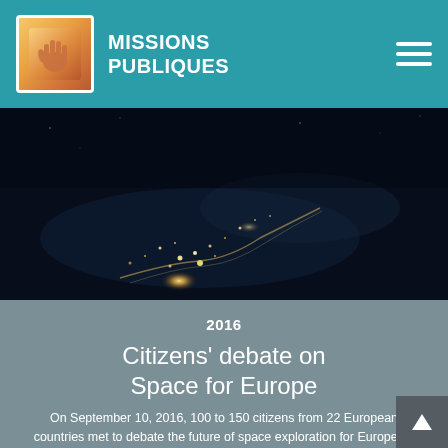MISSIONS PUBLIQUES
[Figure (photo): Aerial night photograph of Europe from space showing city lights reflected on ocean/water surface]
2016
Citizens' debate on Space for Europe
On September 10, 2016, 100 to 150 citizens from 22 European countries met to debate the future of space exploration for Europe •••